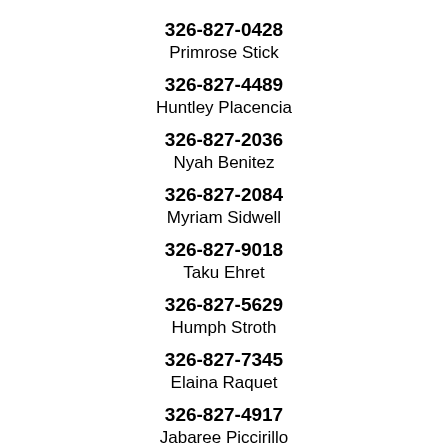326-827-0428
Primrose Stick
326-827-4489
Huntley Placencia
326-827-2036
Nyah Benitez
326-827-2084
Myriam Sidwell
326-827-9018
Taku Ehret
326-827-5629
Humph Stroth
326-827-7345
Elaina Raquet
326-827-4917
Jabaree Piccirillo
326-827-7862